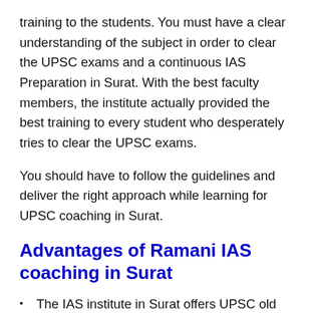training to the students. You must have a clear understanding of the subject in order to clear the UPSC exams and a continuous IAS Preparation in Surat. With the best faculty members, the institute actually provided the best training to every student who desperately tries to clear the UPSC exams.
You should have to follow the guidelines and deliver the right approach while learning for UPSC coaching in Surat.
Advantages of Ramani IAS coaching in Surat
The IAS institute in Surat offers UPSC old question papers that can be utilized for the preparation.